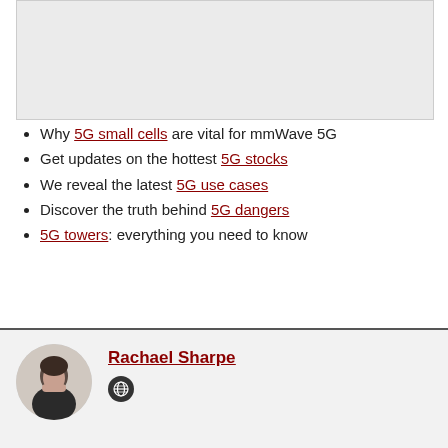[Figure (other): Gray advertisement placeholder box]
Why 5G small cells are vital for mmWave 5G
Get updates on the hottest 5G stocks
We reveal the latest 5G use cases
Discover the truth behind 5G dangers
5G towers: everything you need to know
Rachael Sharpe (author bio section with globe icon)